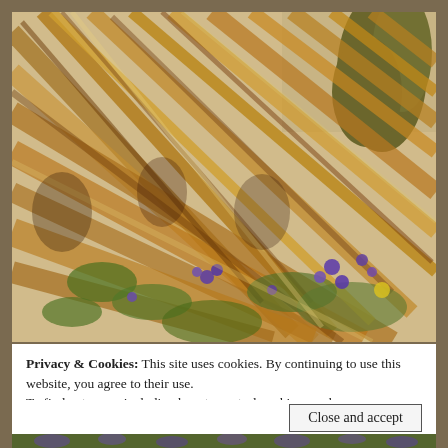[Figure (photo): Close-up photograph of dried golden-brown corn stalks lying diagonally across the frame, with small purple and yellow wildflowers and green foliage visible among them. A dark green conifer tree is visible in the upper right background against a light sky.]
Privacy & Cookies: This site uses cookies. By continuing to use this website, you agree to their use.
To find out more, including how to control cookies, see here:
Cookie Policy
Close and accept
[Figure (photo): Bottom strip of a photograph showing purple flowers and green foliage.]